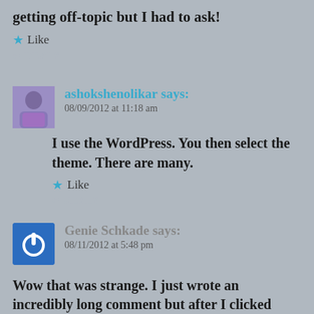getting off-topic but I had to ask!
Like
↵ REPLY
ashokshenolikar says: 08/09/2012 at 11:18 am
I use the WordPress. You then select the theme. There are many.
Like
↵ REPLY
Genie Schkade says: 08/11/2012 at 5:48 pm
Wow that was strange. I just wrote an incredibly long comment but after I clicked submit my comment didn't show up. Grrrr.. well I'm not writing all that